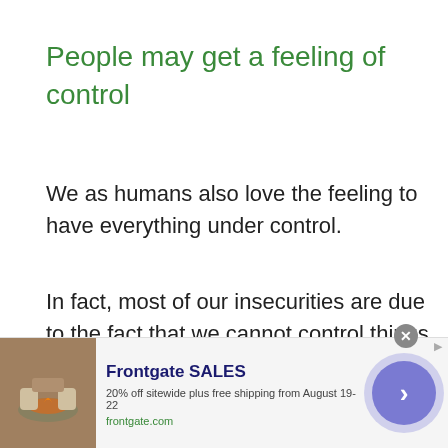People may get a feeling of control
We as humans also love the feeling to have everything under control.
In fact, most of our insecurities are due to the fact that we cannot control things in a sufficient manner.
For instance, many people are quite
[Figure (screenshot): Advertisement banner for Frontgate SALES showing outdoor furniture around a fire pit. Text reads: 'Frontgate SALES', '20% off sitewide plus free shipping from August 19-22', 'frontgate.com'. Includes a close button and a purple circular arrow button.]